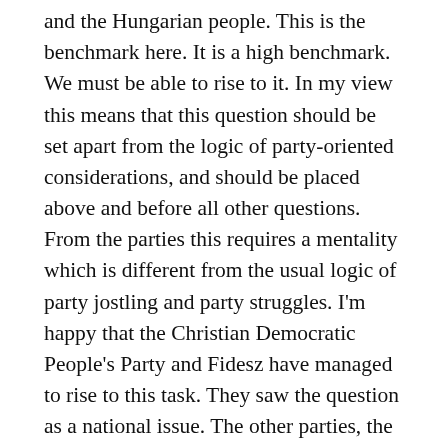and the Hungarian people. This is the benchmark here. It is a high benchmark. We must be able to rise to it. In my view this means that this question should be set apart from the logic of party-oriented considerations, and should be placed above and before all other questions. From the parties this requires a mentality which is different from the usual logic of party jostling and party struggles. I'm happy that the Christian Democratic People's Party and Fidesz have managed to rise to this task. They saw the question as a national issue. The other parties, the opposition parties, failed to rise to this challenge. They got bogged down in the party political dimension and mentality, and from that position it's simply impossible to give